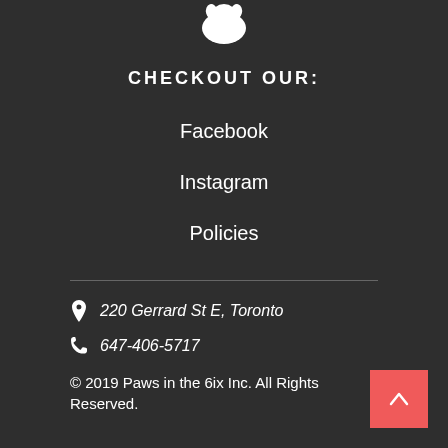[Figure (logo): White paw/dog icon at top center of dark background]
CHECKOUT OUR:
Facebook
Instagram
Policies
220 Gerrard St E, Toronto
647-406-5717
© 2019 Paws in the 6ix Inc. All Rights Reserved.